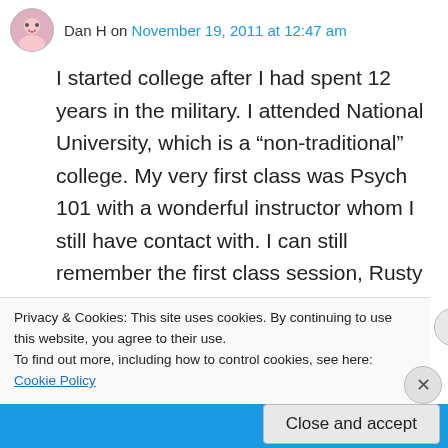Dan H on November 19, 2011 at 12:47 am
I started college after I had spent 12 years in the military. I attended National University, which is a “non-traditional” college. My very first class was Psych 101 with a wonderful instructor whom I still have contact with. I can still remember the first class session, Rusty asked how many of us were “older” and just starting college. A number of us were over 30 (I was 33). He said a few things intended to congratulate us on your decision to go back to school, but the one thing
Privacy & Cookies: This site uses cookies. By continuing to use this website, you agree to their use.
To find out more, including how to control cookies, see here: Cookie Policy